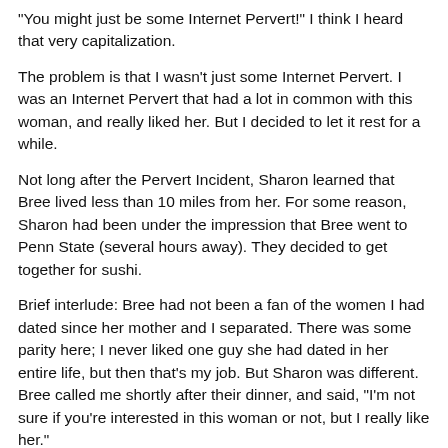"You might just be some Internet Pervert!" I think I heard that very capitalization.
The problem is that I wasn't just some Internet Pervert. I was an Internet Pervert that had a lot in common with this woman, and really liked her. But I decided to let it rest for a while.
Not long after the Pervert Incident, Sharon learned that Bree lived less than 10 miles from her. For some reason, Sharon had been under the impression that Bree went to Penn State (several hours away). They decided to get together for sushi.
Brief interlude: Bree had not been a fan of the women I had dated since her mother and I separated. There was some parity here; I never liked one guy she had dated in her entire life, but then that's my job. But Sharon was different. Bree called me shortly after their dinner, and said, "I'm not sure if you're interested in this woman or not, but I really like her."
Wow, a ringing endorsement! I still had no idea what Sharon looked like, but I was reasonably sure she didn't have horns